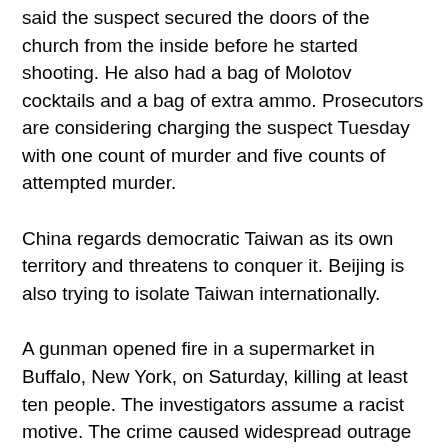said the suspect secured the doors of the church from the inside before he started shooting. He also had a bag of Molotov cocktails and a bag of extra ammo. Prosecutors are considering charging the suspect Tuesday with one count of murder and five counts of attempted murder.
China regards democratic Taiwan as its own territory and threatens to conquer it. Beijing is also trying to isolate Taiwan internationally.
A gunman opened fire in a supermarket in Buffalo, New York, on Saturday, killing at least ten people. The investigators assume a racist motive. The crime caused widespread outrage across the country. On (today) Tuesday, US President Joe Biden wants to visit the town in northwest New York State. The White House said he wanted to mourn there with his wife Jill and the community.